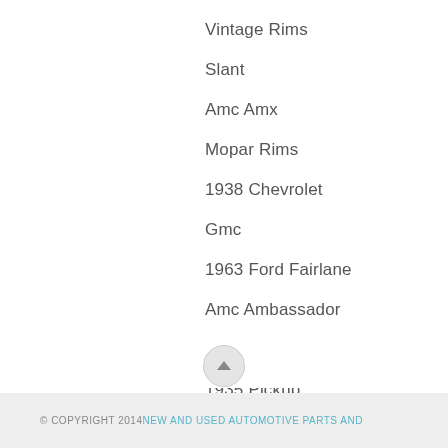Vintage Rims
Slant
Amc Amx
Mopar Rims
1938 Chevrolet
Gmc
1963 Ford Fairlane
Amc Ambassador
1969 Dart
1935 Pickup
Model A Ford Speedometer
Chevrolet 216
© COPYRIGHT 2014 NEW AND USED AUTOMOTIVE PARTS AND